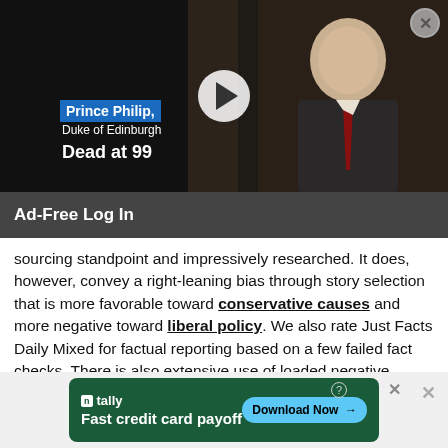[Figure (screenshot): Video thumbnail showing Prince Philip with play button overlay. Dark background with photo of an elderly man in a suit. Blue label reads 'Prince Philip,' with subtitle 'Duke of Edinburgh' and bold text 'Dead at 99'. Close button (X) in top right corner.]
Ad-Free Log In
sourcing standpoint and impressively researched. It does, however, convey a right-leaning bias through story selection that is more favorable toward conservative causes and more negative toward liberal policy. We also rate Just Facts Daily Mixed for factual reporting based on a few failed fact checks. There is also extensive use of loaded negative emotional words when describing the left. This is the opposite approach that a fact-checker should take when instead they should be using neutral language. We rate this source Right-Center Biased.
[Figure (screenshot): Advertisement banner for Tally app. Green background. Tally logo on left with text 'Fast credit card payoff'. Blue pill-shaped button on right reading 'Download Now →'. Info and close icons visible.]